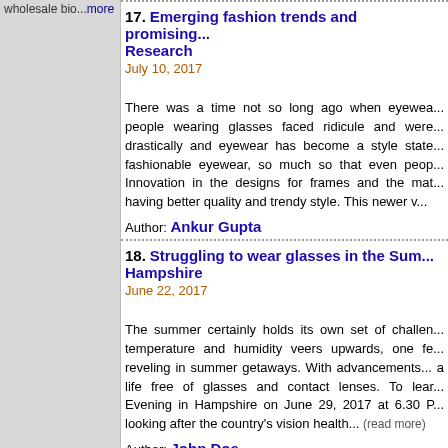wholesale bio...more
17. Emerging fashion trends and promising... Research
July 10, 2017
There was a time not so long ago when eyewea... people wearing glasses faced ridicule and were... drastically and eyewear has become a style state... fashionable eyewear, so much so that even peop... Innovation in the designs for frames and the mat... having better quality and trendy style. This newer v...
Author: Ankur Gupta
18. Struggling to wear glasses in the Sum... Hampshire
June 22, 2017
The summer certainly holds its own set of challen... temperature and humidity veers upwards, one fe... reveling in summer getaways. With advancements... a life free of glasses and contact lenses. To lear... Evening in Hampshire on June 29, 2017 at 6.30 P... looking after the country's vision health... (read more)
Author: John Doe
19. SpyCrushers Spy Camera Glasses Beats Sn...